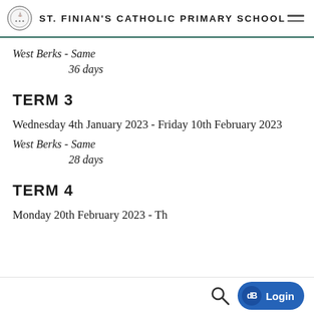ST. FINIAN'S CATHOLIC PRIMARY SCHOOL
West Berks - Same
36 days
TERM 3
Wednesday 4th January 2023 - Friday 10th February 2023
West Berks - Same
28 days
TERM 4
Monday 20th February 2023 - Th